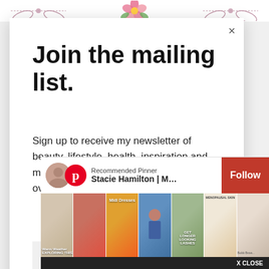[Figure (illustration): Decorative header with floral/bow ornaments on both sides and a pink flower in the center]
Join the mailing list.
Sign up to receive my newsletter of beauty, lifestyle, health, inspiration and more content carefully curated for women over 40.
First name
Email address
[Figure (screenshot): Pinterest recommended pinner widget showing Stacie Hamilton | Makeup,... with a Follow button and a row of pin image thumbnails. X CLOSE button at bottom right.]